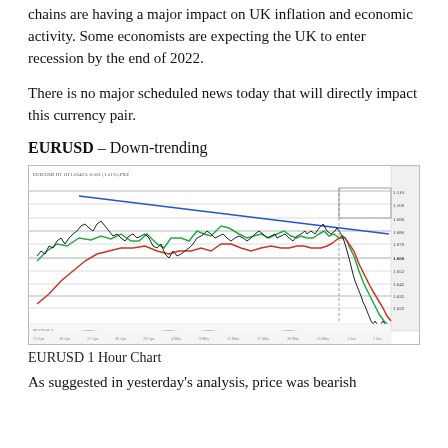chains are having a major impact on UK inflation and economic activity. Some economists are expecting the UK to enter recession by the end of 2022.
There is no major scheduled news today that will directly impact this currency pair.
EURUSD – Down-trending
[Figure (continuous-plot): EURUSD 1 Hour Chart showing a down-trending price action with moving averages (green, red) and a descending blue trendline. Price falls sharply on the right side. Horizontal support/resistance lines visible. MACD indicator at the bottom.]
EURUSD 1 Hour Chart
As suggested in yesterday's analysis, price was bearish